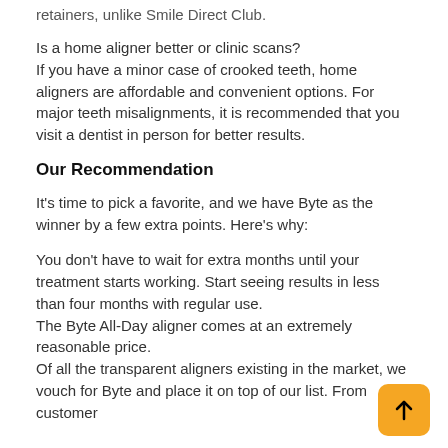retainers, unlike Smile Direct Club.
Is a home aligner better or clinic scans?
If you have a minor case of crooked teeth, home aligners are affordable and convenient options. For major teeth misalignments, it is recommended that you visit a dentist in person for better results.
Our Recommendation
It's time to pick a favorite, and we have Byte as the winner by a few extra points. Here's why:
You don't have to wait for extra months until your treatment starts working. Start seeing results in less than four months with regular use.
The Byte All-Day aligner comes at an extremely reasonable price.
Of all the transparent aligners existing in the market, we vouch for Byte and place it on top of our list. From customer